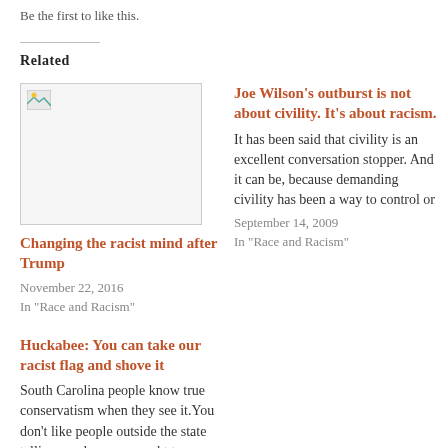Be the first to like this.
Related
[Figure (photo): Broken image placeholder thumbnail]
Changing the racist mind after Trump
November 22, 2016
In "Race and Racism"
Joe Wilson's outburst is not about civility. It's about racism.
It has been said that civility is an excellent conversation stopper. And it can be, because demanding civility has been a way to control or
September 14, 2009
In "Race and Racism"
Huckabee: You can take our racist flag and shove it
South Carolina people know true conservatism when they see it.You don't like people outside the state telling you how you ought to